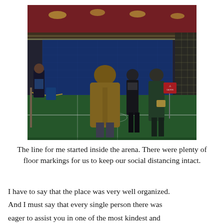[Figure (photo): Interior of an arena converted to a vaccination or testing site. People are standing in line on artificial turf, spaced apart for social distancing. A person in a tan/brown jacket is visible from behind in the foreground. Staff members in dark clothing and masks are present. Blue barriers and chain-link fencing are visible in the background. A red warning sign is visible on the right side.]
The line for me started inside the arena. There were plenty of floor markings for us to keep our social distancing intact.
I have to say that the place was very well organized.

And I must say that every single person there was

eager to assist you in one of the most kindest and